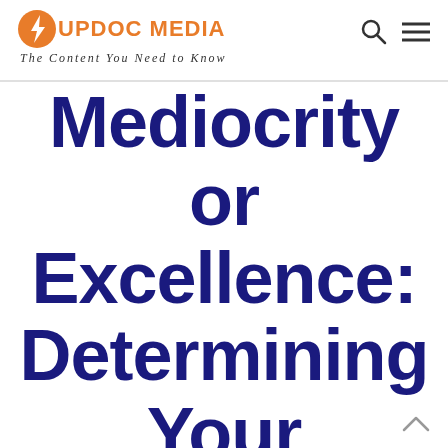UPDOC MEDIA — The Content You Need to Know
Mediocrity or Excellence: Determining Your Corporate Culture